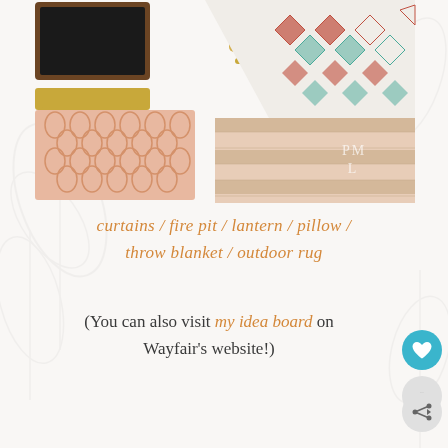[Figure (photo): Product collage showing home decor items: a chalkboard frame, brass lantern, colorful geometric patterned pillow/throw blanket, a pink/salmon moroccan trellis outdoor rug, wooden slat tray, and a gold handled tray/shelf]
curtains / fire pit / lantern / pillow / throw blanket / outdoor rug
(You can also visit my idea board on Wayfair's website!)